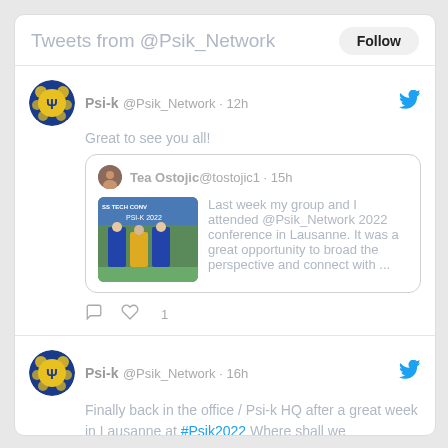Tweets from @Psik_Network
Psi-k @Psik_Network · 12h
Great to see you all!
Tea Ostojic @tostojic1 · 15h
Last week my group and I attended @Psik_Network 2022 conference in Lausanne. It was a great opportunity to broad the perspective and connect with ...
Psi-k @Psik_Network · 16h
Finally back in the office / Psi-k HQ after a great week in Lausanne at #Psik2022 Where shall we